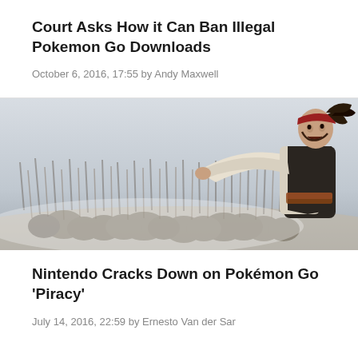Court Asks How it Can Ban Illegal Pokemon Go Downloads
October 6, 2016, 17:55 by Andy Maxwell
[Figure (photo): A pirate character dressed in a white billowing shirt and dark vest with dreadlocks, raising arm toward a large crowd of warriors with spears in a battle scene, grey sky background.]
Nintendo Cracks Down on Pokémon Go ‘Piracy’
July 14, 2016, 22:59 by Ernesto Van der Sar